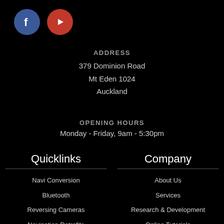[Figure (logo): Facebook and YouTube social media icon circles]
ADDRESS
379 Dominion Road
Mt Eden 1024
Auckland
OPENING HOURS
Monday - Friday, 9am - 5:30pm
Quicklinks
Navi Conversion
Bluetooth
Reversing Cameras
Navigation Retrofits
Company
About Us
Services
Research & Development
Online Tutorials